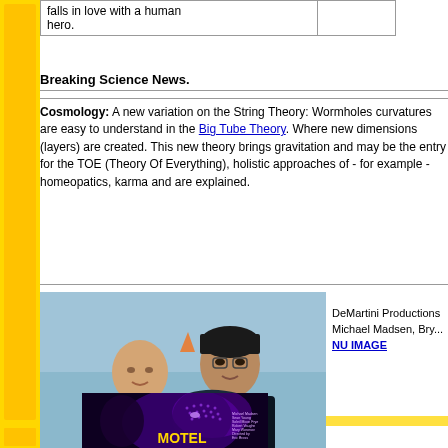| falls in love with a human hero. |  |
Breaking Science News.
Cosmology: A new variation on the String Theory: Wormholes curvatures are easy to understand in the Big Tube Theory. Where new dimensions (layers) are created. This new theory brings gravitation and may be the entry for the TOE (Theory Of Everything), holistic approaches of - for example - homeopatics, karma and are explained.
[Figure (photo): Two men posing together for a photo, one bald and one with dark hair, both in suits]
DeMartini Productions Michael Madsen, Bry... NU IMAGE
[Figure (photo): Movie poster for MOTEL with dark purple tones and a face]
FILM with Robert Vaughn, Sean Young, Soleil Moon Frye and